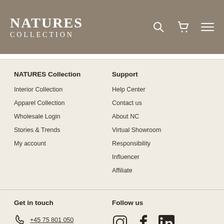NATURES COLLECTION
NATURES Collection
Interior Collection
Apparel Collection
Wholesale Login
Stories & Trends
My account
Support
Help Center
Contact us
About NC
Virtual Showroom
Responsibility
Influencer
Affiliate
Get in touch
+45 75 801 050
Email us
Follow us
[Figure (illustration): Instagram, Facebook, and LinkedIn social media icons]